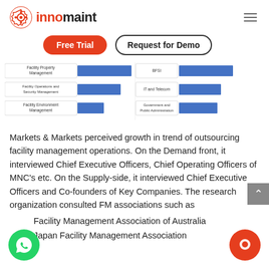[Figure (logo): Innomaint logo with gear icon and brand name]
[Figure (infographic): Two horizontal bar charts showing facility management segments (Facility Property Management, Facility Operations and Security Management, Facility Environment Management) and industry verticals (BFSI, IT and Telecom, Government and Public Administration)]
Markets & Markets perceived growth in trend of outsourcing facility management operations. On the Demand front, it interviewed Chief Executive Officers, Chief Operating Officers of MNC's etc. On the Supply-side, it interviewed Chief Executive Officers and Co-founders of Key Companies. The research organization consulted FM associations such as
Facility Management Association of Australia
Japan Facility Management Association